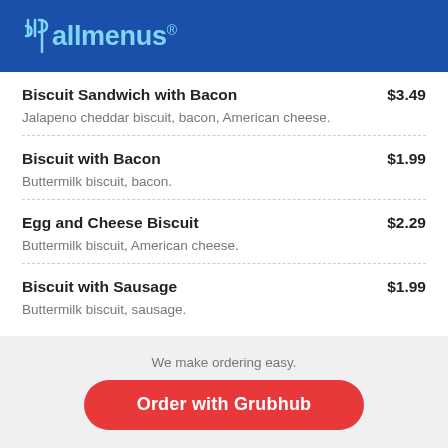[Figure (logo): allmenus logo — white fork/knife icon and light blue 'allmenus' wordmark on dark blue background]
Biscuit Sandwich with Bacon $3.49 — Jalapeno cheddar biscuit, bacon, American cheese.
Biscuit with Bacon $1.99 — Buttermilk biscuit, bacon.
Egg and Cheese Biscuit $2.29 — Buttermilk biscuit, American cheese.
Biscuit with Sausage $1.99 — Buttermilk biscuit, sausage.
We make ordering easy.
Order with Grubhub